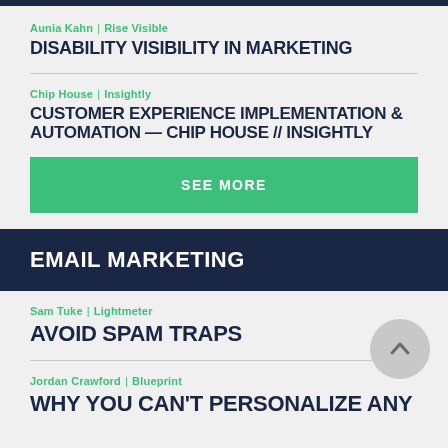Aunia Kahn | Rise Visible
DISABILITY VISIBILITY IN MARKETING
Chip House | Insightly
CUSTOMER EXPERIENCE IMPLEMENTATION & AUTOMATION — CHIP HOUSE // INSIGHTLY
SEE MORE
EMAIL MARKETING
Sam Tuke | Lightmeter
AVOID SPAM TRAPS
Jordan Crawford | Blueprint
WHY YOU CAN'T PERSONALIZE ANY